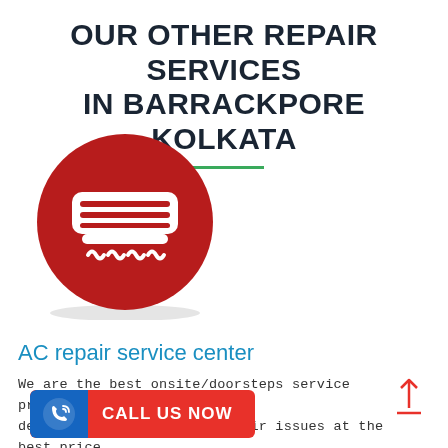OUR OTHER REPAIR SERVICES IN BARRACKPORE KOLKATA
[Figure (illustration): Red circle with white AC unit icon showing air conditioner with airflow waves below]
AC repair service center
We are the best onsite/doorsteps service provider at your destination of your AC .repair issues at the best price.
[Figure (infographic): Red call-to-action button with phone icon and text CALL US NOW]